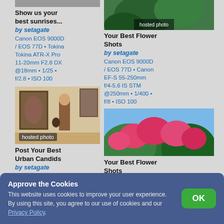Show us your best sunrises...
by setagate
Canon EOS 9000D / EOS 77D • Tokina Tokina ATR-X Pro 11-20mm F2.8 DX @18mm • 1/25 • f/2.8 • ISO 100
[Figure (photo): Photo of a person in a museum or gallery, brown robe, labeled 'hosted photo']
Post Your Best Urban Candids
by setagate
Canon EOS 9000D / EOS 77D • Canon EF-S 17-55mm f/2.8 IS USM @55mm • 1/60 • f/3.5 • ISO 1600
[Figure (photo): Photo of flowers/plants outdoors, labeled 'hosted photo']
Your Best Flower Shots
by setagate
Canon EOS 9000D / EOS 77D • Canon EF-S 55-250mm f/4-5.6 IS STM @250mm • 1/400 • f/8 • ISO 100
[Figure (photo): Photo of pink/red flowering bushes, labeled 'hosted photo']
Your Best Flower Shots
by setagate
Canon EOS 9000D / EOS 77D • Canon EF-S 17-55mm f/2.8 IS USM @17mm • 1/100 • f/8 • ISO 100
Approve the Cookies
This website uses cookies to improve your user experience. By using this site, you agree to our use of cookies and our Privacy Policy.